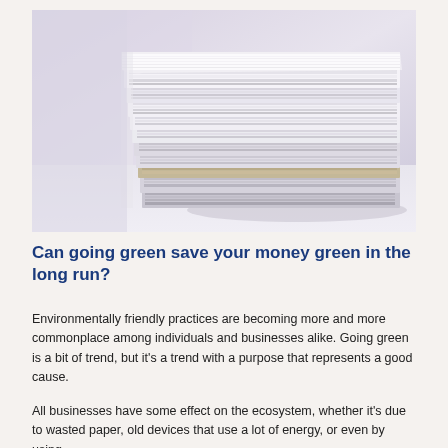[Figure (photo): A stack of papers and magazines piled on a white surface, photographed close-up with a blurred background in soft light tones.]
Can going green save your money green in the long run?
Environmentally friendly practices are becoming more and more commonplace among individuals and businesses alike. Going green is a bit of trend, but it's a trend with a purpose that represents a good cause.
All businesses have some effect on the ecosystem, whether it's due to wasted paper, old devices that use a lot of energy, or even by using